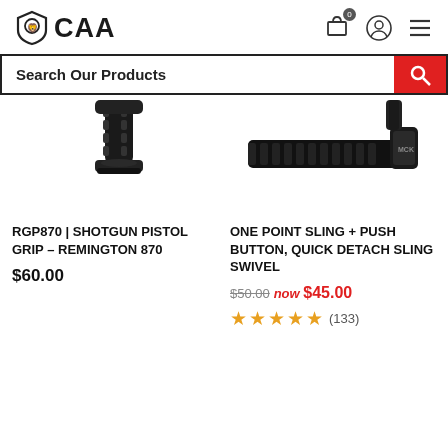CAA | Search Our Products
[Figure (photo): Shotgun pistol grip product image - black grip for Remington 870]
RGP870 | SHOTGUN PISTOL GRIP – REMINGTON 870
$60.00
[Figure (photo): One point sling product image - black tactical sling with push button quick detach swivel]
ONE POINT SLING + PUSH BUTTON, QUICK DETACH SLING SWIVEL
$50.00 now $45.00
★★★★★ (133)